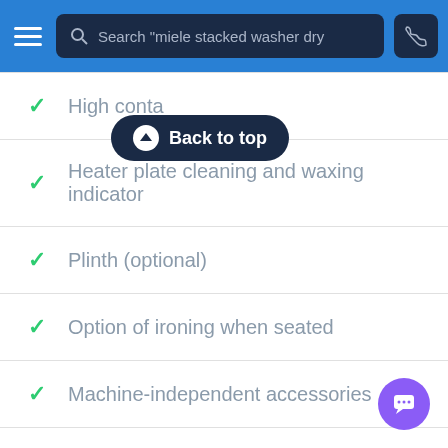[Figure (screenshot): Navigation bar with hamburger menu, search box reading 'Search "miele stacked washer dry', and phone button]
High conta...
Heater plate cleaning and waxing indicator
Plinth (optional)
Option of ironing when seated
Machine-independent accessories